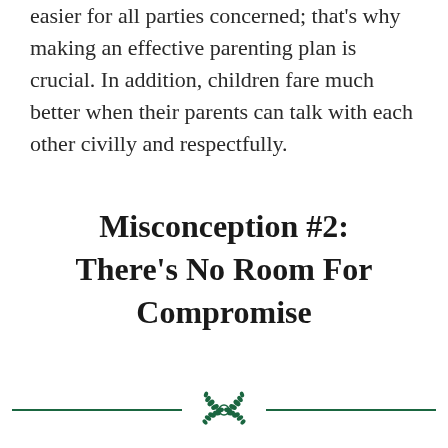easier for all parties concerned; that's why making an effective parenting plan is crucial. In addition, children fare much better when their parents can talk with each other civilly and respectfully.
Misconception #2: There's No Room For Compromise